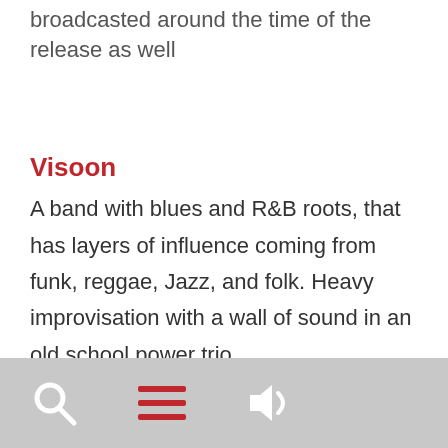broadcasted around the time of the release as well
Visoon
A band with blues and R&B roots, that has layers of influence coming from funk, reggae, Jazz, and folk. Heavy improvisation with a wall of sound in an old school power trio.
[search icon] [menu icon] [speaker icon]